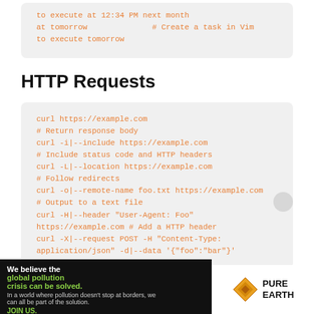to execute at 12:34 PM next month
at tomorrow              # Create a task in Vim
to execute tomorrow
HTTP Requests
curl https://example.com
# Return response body
curl -i|--include https://example.com
# Include status code and HTTP headers
curl -L|--location https://example.com
# Follow redirects
curl -o|--remote-name foo.txt https://example.com
# Output to a text file
curl -H|--header "User-Agent: Foo"
https://example.com # Add a HTTP header
curl -X|--request POST -H "Content-Type:
application/json" -d|--data '{"foo":"bar"}'
[Figure (other): Advertisement banner for Pure Earth organization. Left side dark background with text 'We believe the global pollution crisis can be solved.' and 'In a world where pollution doesn't stop at borders, we can all be part of the solution.' and 'JOIN US.' Right side white background with Pure Earth logo (diamond shape) and 'PURE EARTH' text.]